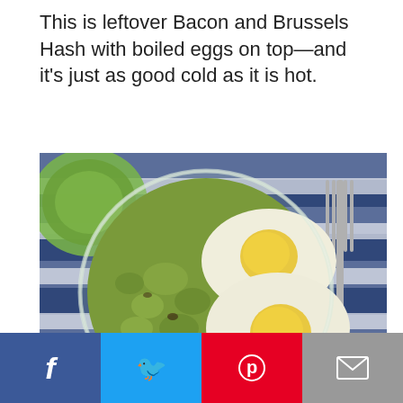This is leftover Bacon and Brussels Hash with boiled eggs on top—and it's just as good cold as it is hot.
[Figure (photo): Overhead photo of a glass bowl containing Bacon and Brussels Hash (chopped Brussels sprouts) topped with two halved hard-boiled eggs showing yellow yolks, placed on a blue and white striped cloth napkin with a fork to the right and a green plate in the upper left background.]